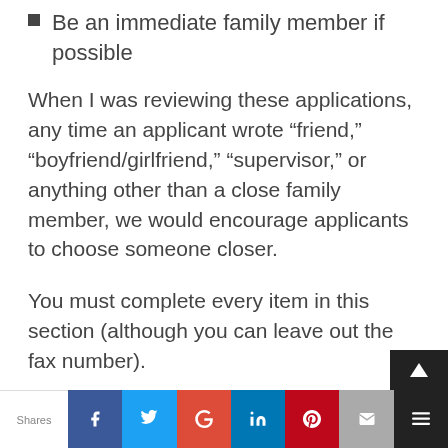Be an immediate family member if possible
When I was reviewing these applications, any time an applicant wrote “friend,” “boyfriend/girlfriend,” “supervisor,” or anything other than a close family member, we would encourage applicants to choose someone closer.
You must complete every item in this section (although you can leave out the fax number).
Shares | Facebook | Twitter | Google+ | LinkedIn | Pinterest | Email | More